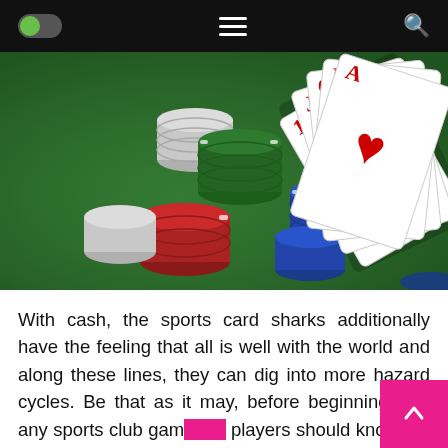[Navigation bar with toggle switch, hamburger menu, and search icon]
[Figure (photo): Casino poker chips in blue, red, green, and white stacked on a green felt table surface, with playing cards (A, K, Q, J, 10 of hearts) fanned out on the right side showing a royal flush.]
With cash, the sports card sharks additionally have the feeling that all is well with the world and along these lines, they can dig into more hazard cycles. Be that as it may, before beginning with any sports club game the players should know the accompanying answers